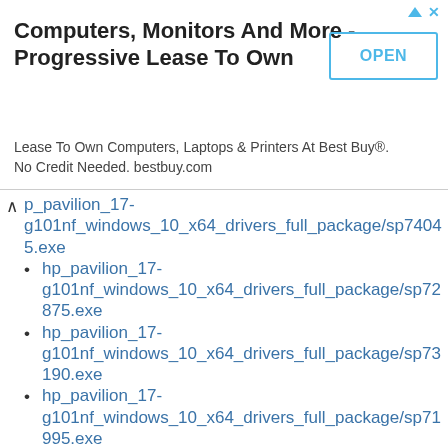[Figure (screenshot): Advertisement banner: 'Computers, Monitors And More - Progressive Lease To Own' with OPEN button and subtitle 'Lease To Own Computers, Laptops & Printers At Best Buy®. No Credit Needed. bestbuy.com']
hp_pavilion_17-g101nf_windows_10_x64_drivers_full_package/sp74045.exe
hp_pavilion_17-g101nf_windows_10_x64_drivers_full_package/sp72875.exe
hp_pavilion_17-g101nf_windows_10_x64_drivers_full_package/sp73190.exe
hp_pavilion_17-g101nf_windows_10_x64_drivers_full_package/sp71995.exe
hp_pavilion_17-g101nf_windows_10_x64_drivers_full_package/sp74241.exe
hp_pavilion_17-g101nf_windows_10_x64_drivers_full_package/sp72632.exe
hp_pavilion_17-g101nf_windows_10_x64_drivers_full_package/sp74382.exe
hp_pavilion_17-g101nf_windows_10_x64_drivers_full_package/sp72159.exe
hp_pavilion_17-